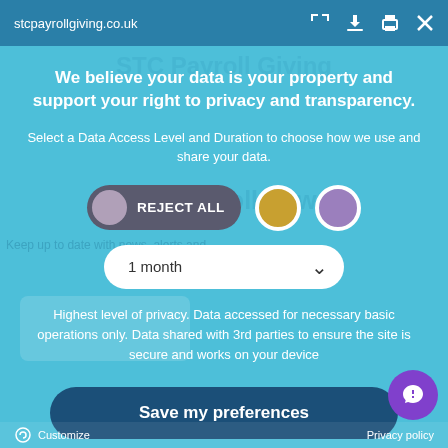stcpayrollgiving.co.uk
We believe your data is your property and support your right to privacy and transparency.
Select a Data Access Level and Duration to choose how we use and share your data.
[Figure (screenshot): REJECT ALL toggle button with grey circle, followed by two circular option buttons (gold and purple) with white borders]
[Figure (screenshot): Dropdown selector showing '1 month' with a chevron arrow]
Highest level of privacy. Data accessed for necessary basic operations only. Data shared with 3rd parties to ensure the site is secure and works on your device
Save my preferences
Customize    Privacy policy